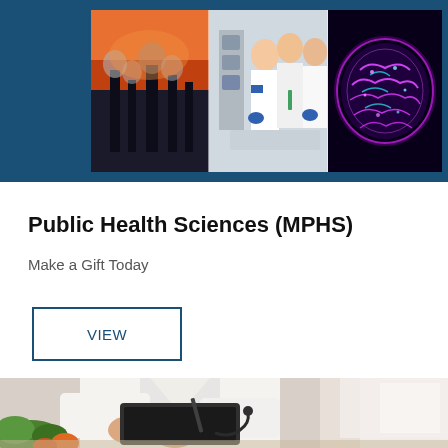[Figure (photo): Blue banner background with three side-by-side photos: industrial smokestacks at sunset, scientists in lab coats working with equipment, and a colorful neon-lit brain illustration]
Public Health Sciences (MPHS)
Make a Gift Today
VIEW
[Figure (photo): Person in white lab coat writing on a clipboard or tablet, with vegetables visible in the lower left, sitting at a table]